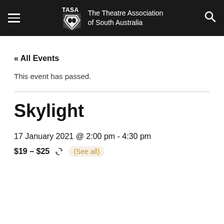TASA The Theatre Association of South Australia
« All Events
This event has passed.
Skylight
17 January 2021 @ 2:00 pm - 4:30 pm
$19 – $25  (See all)